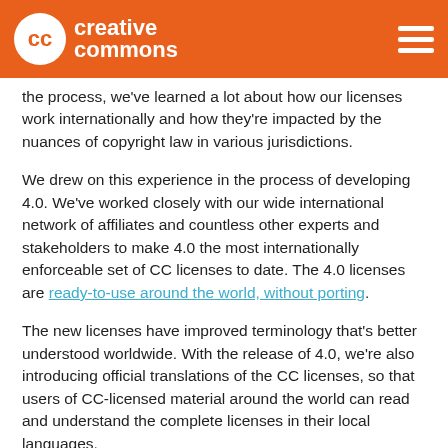Creative Commons
the process, we've learned a lot about how our licenses work internationally and how they're impacted by the nuances of copyright law in various jurisdictions.
We drew on this experience in the process of developing 4.0. We've worked closely with our wide international network of affiliates and countless other experts and stakeholders to make 4.0 the most internationally enforceable set of CC licenses to date. The 4.0 licenses are ready-to-use around the world, without porting.
The new licenses have improved terminology that's better understood worldwide. With the release of 4.0, we're also introducing official translations of the CC licenses, so that users of CC-licensed material around the world can read and understand the complete licenses in their local languages.